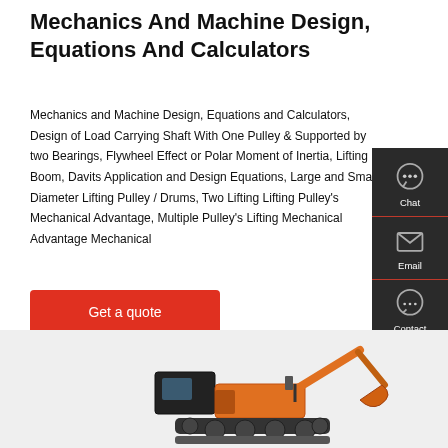Mechanics And Machine Design, Equations And Calculators
Mechanics and Machine Design, Equations and Calculators, Design of Load Carrying Shaft With One Pulley & Supported by two Bearings, Flywheel Effect or Polar Moment of Inertia, Lifting Boom, Davits Application and Design Equations, Large and Small Diameter Lifting Pulley / Drums, Two Lifting Lifting Pulley's Mechanical Advantage, Multiple Pulley's Lifting Mechanical Advantage Mechanical
Get a quote
[Figure (infographic): Sidebar UI panel with Chat, Email, and Contact icons on dark background]
[Figure (photo): Orange and black excavator/construction machine photographed from side, partially visible at bottom of page]